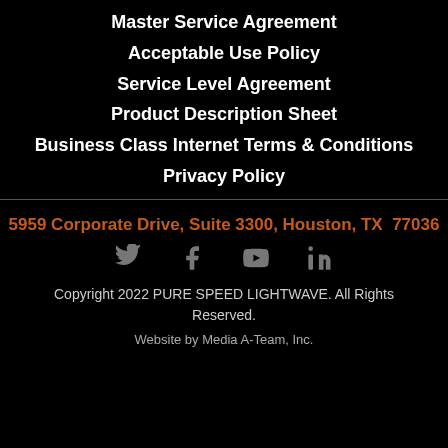Master Service Agreement
Acceptable Use Policy
Service Level Agreement
Product Description Sheet
Business Class Internet Terms & Conditions
Privacy Policy
5959 Corporate Drive, Suite 3300, Houston, TX  77036
Copyright 2022 PURE SPEED LIGHTWAVE. All Rights Reserved.
Website by Media A-Team, Inc.